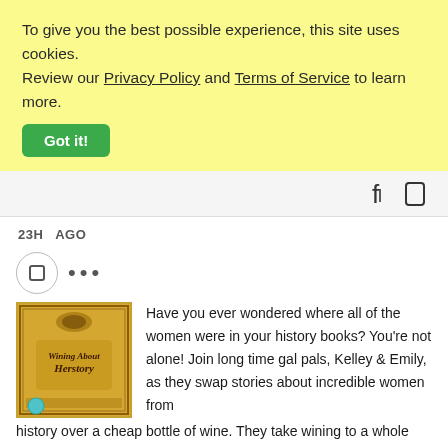To give you the best possible experience, this site uses cookies. Review our Privacy Policy and Terms of Service to learn more.
Got it!
[Figure (other): Navigation bar with search and menu icons]
23H  AGO
[Figure (other): User avatar circle icon with ellipsis menu]
Have you ever wondered where all of the women were in your history books? You're not alone! Join long time gal pals, Kelley & Emily, as they swap stories about incredible women from history over a cheap bottle of wine. They take wining to a whole new level. Women's history has never been this tipsy!